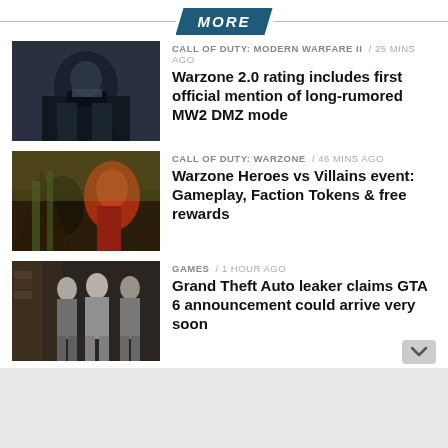MORE
[Figure (photo): Call of Duty: Modern Warfare II gameplay screenshot — dark military soldier with weapon]
CALL OF DUTY: MODERN WARFARE II  /  25 mins ago
Warzone 2.0 rating includes first official mention of long-rumored MW2 DMZ mode
[Figure (photo): Call of Duty: Warzone gameplay screenshot — action scene with characters in combat]
CALL OF DUTY: WARZONE  /  46 mins ago
Warzone Heroes vs Villains event: Gameplay, Faction Tokens & free rewards
[Figure (photo): Grand Theft Auto screenshot — three suited male characters standing together]
GAMES  /  1 hour ago
Grand Theft Auto leaker claims GTA 6 announcement could arrive very soon